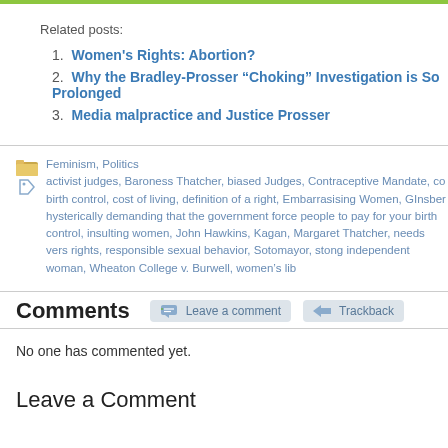Related posts:
1. Women's Rights: Abortion?
2. Why the Bradley-Prosser “Choking” Investigation is So Prolonged
3. Media malpractice and Justice Prosser
Feminism, Politics
activist judges, Baroness Thatcher, biased Judges, Contraceptive Mandate, co birth control, cost of living, definition of a right, Embarrasising Women, GInsber hysterically demanding that the government force people to pay for your birth control, insulting women, John Hawkins, Kagan, Margaret Thatcher, needs vers rights, responsible sexual behavior, Sotomayor, stong independent woman, Wheaton College v. Burwell, women’s lib
Comments
No one has commented yet.
Leave a Comment